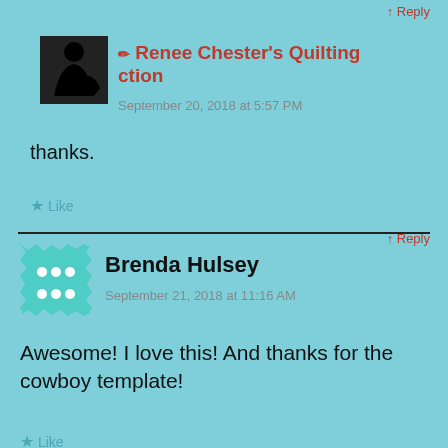↑ Reply
✏ Renee Chester's Quilting ction
September 20, 2018 at 5:57 PM
thanks.
★ Like
↑ Reply
Brenda Hulsey
September 21, 2018 at 11:16 AM
Awesome! I love this! And thanks for the cowboy template!
★ Like